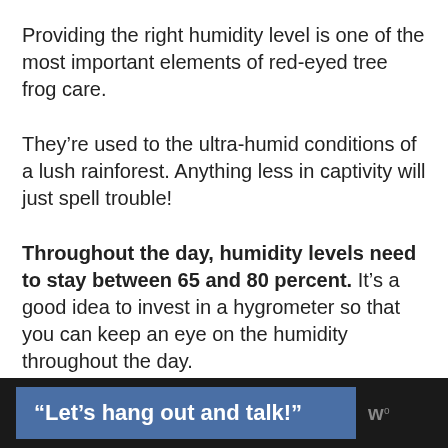Providing the right humidity level is one of the most important elements of red-eyed tree frog care.
They're used to the ultra-humid conditions of a lush rainforest. Anything less in captivity will just spell trouble!
Throughout the day, humidity levels need to stay between 65 and 80 percent. It's a good idea to invest in a hygrometer so that you can keep an eye on the humidity throughout the day.
“Let’s hang out and talk!”